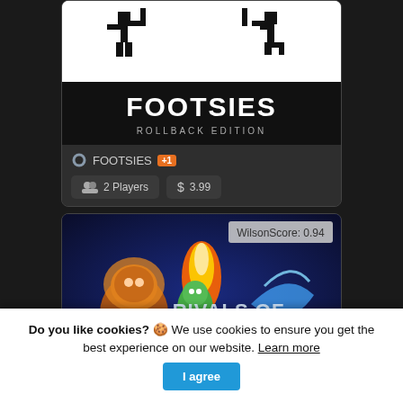[Figure (screenshot): FOOTSIES Rollback Edition game card with pixel art image showing two stick figure fighters, game title FOOTSIES with +1 badge, 2 Players and $3.99 info]
[Figure (screenshot): Rivals of Aether game card with colorful fantasy fighter artwork, WilsonScore: 0.94 badge, game title Rivals of Aether with +1 badge]
Do you like cookies? 🍪 We use cookies to ensure you get the best experience on our website. Learn more | I agree